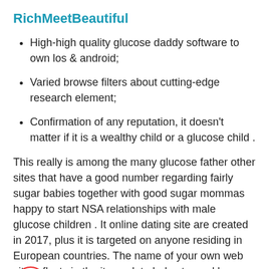RichMeetBeautiful
High-high quality glucose daddy software to own los & android;
Varied browse filters about cutting-edge research element;
Confirmation of any reputation, it doesn't matter if it is a wealthy child or a glucose child .
This really is among the many glucose father other sites that have a good number regarding fairly sugar babies together with good sugar mommas happy to start NSA relationships with male glucose children . It online dating site are created in 2017, plus it is targeted on anyone residing in European countries. The name of your own web site reflects in the its goal: to help steeped boys satisfy beautiful female sugar infants .